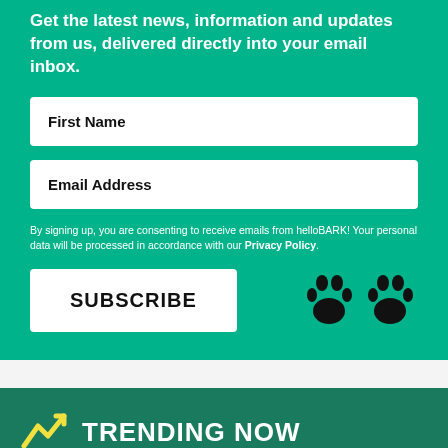Get the latest news, information and updates from us, delivered directly into your email inbox.
First Name
Email Address
By signing up, you are consenting to receive emails from helloBARK! Your personal data will be processed in accordance with our Privacy Policy.
SUBSCRIBE
[Figure (illustration): Two black paw print icons]
TRENDING NOW
[Figure (illustration): Yellow trending arrow icon (line chart arrow going up)]